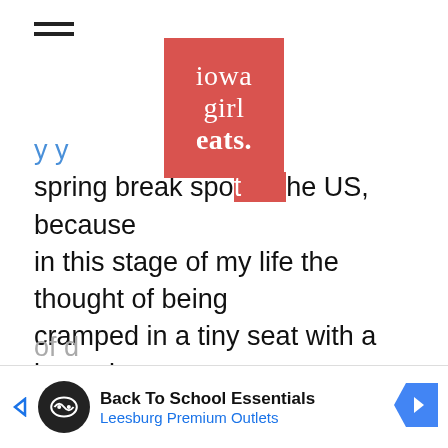[Figure (logo): Iowa Girl Eats logo — red/salmon square with white text reading 'iowa girl eats.']
spring break spot in the US, because in this stage of my life the thought of being cramped in a tiny seat with a bacteria-covered swivel tray for longer than 3 hours with a toddler, newborn, and husband who hates flying is enough to send me into an emotional tailspin. ?
If you can relate – fear not! There are tons of d...
[Figure (infographic): Advertisement banner: Back To School Essentials – Leesburg Premium Outlets, with infinity-loop icon and blue direction arrow]